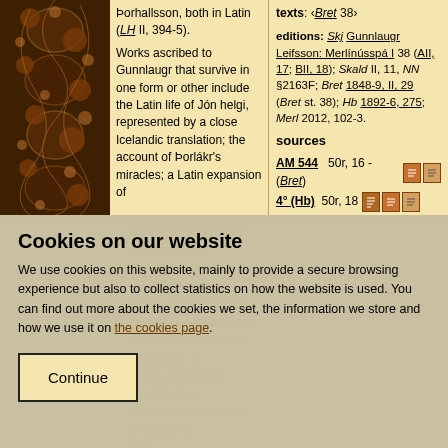Porhallsson, both in Latin (LH II, 394-5).
Works ascribed to Gunnlaugr that survive in one form or other include the Latin life of Jón helgi, represented by a close Icelandic translation; the account of Þorlákr's miracles; a Latin expansion of
texts: ‹Bret 38›
editions: Skj Gunnlaugr Leifsson: Merlínússpá I 38 (AII, 17; BII, 18); Skald II, 11, NN §2163F; Bret 1848-9, II, 29 (Bret st. 38); Hb 1892-6, 275; Merl 2012, 102-3.
sources
AM 544   50r, 16 - (Bret)
4° (Hb)   50r, 18
Cookies on our website
We use cookies on this website, mainly to provide a secure browsing experience but also to collect statistics on how the website is used. You can find out more about the cookies we set, the information we store and how we use it on the cookies page.
Continue